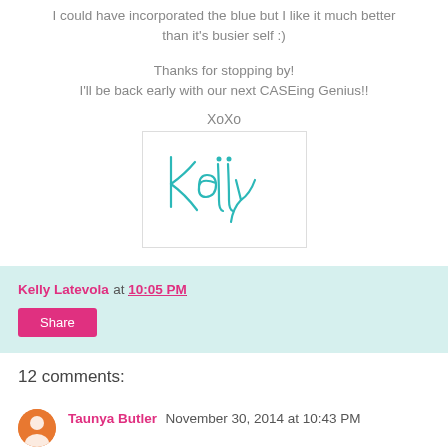I could have incorporated the blue but I like it much better than it's busier self :)
Thanks for stopping by!
I'll be back early with our next CASEing Genius!!
XoXo
[Figure (illustration): Handwritten signature 'Kelly' in teal/turquoise script on white background with light border]
Kelly Latevola at 10:05 PM
Share
12 comments:
Taunya Butler  November 30, 2014 at 10:43 PM